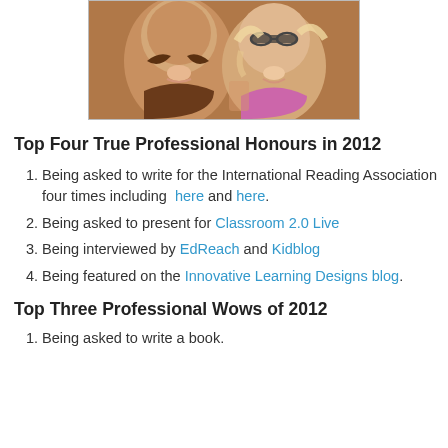[Figure (photo): Photo of two women smiling closely together, one with dark curly hair and one with light hair wearing glasses and a pink top]
Top Four True Professional Honours in 2012
Being asked to write for the International Reading Association four times including here and here.
Being asked to present for Classroom 2.0 Live
Being interviewed by EdReach and Kidblog
Being featured on the Innovative Learning Designs blog.
Top Three Professional Wows of 2012
Being asked to write a book.